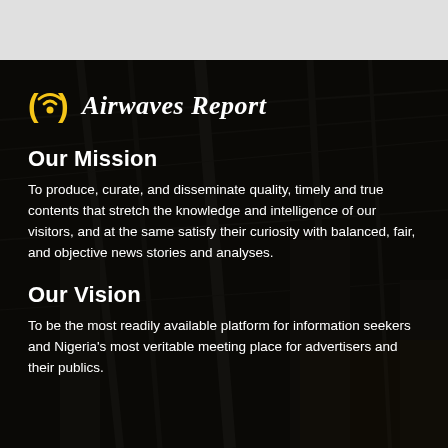[Figure (photo): Dark background image of an urban/industrial scene with overhead cables and dim lighting, serving as backdrop for Airwaves Report content.]
Airwaves Report
Our Mission
To produce, curate, and disseminate quality, timely and true contents that stretch the knowledge and intelligence of our visitors, and at the same satisfy their curiosity with balanced, fair, and objective news stories and analyses.
Our Vision
To be the most readily available platform for information seekers and Nigeria's most veritable meeting place for advertisers and their publics.